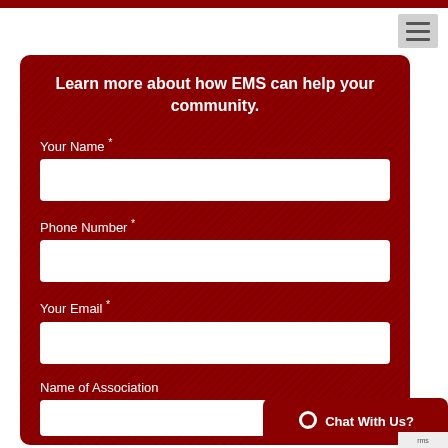Learn more about how EMS can help your community.
Your Name *
Phone Number *
Your Email *
Name of Association
Chat With Us?